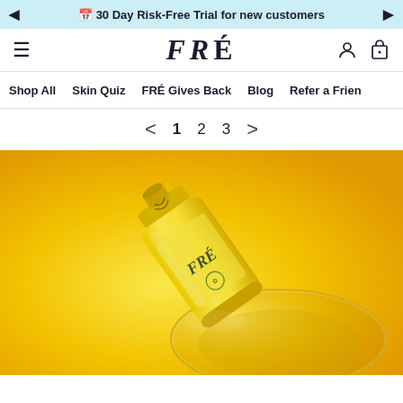30 Day Risk-Free Trial for new customers
FRÉ
Shop All  Skin Quiz  FRÉ Gives Back  Blog  Refer a Frien
< 1 2 3 >
[Figure (photo): FRÉ Vitamin C Serum yellow bottle lying on its side next to a glass bowl on a bright yellow background]